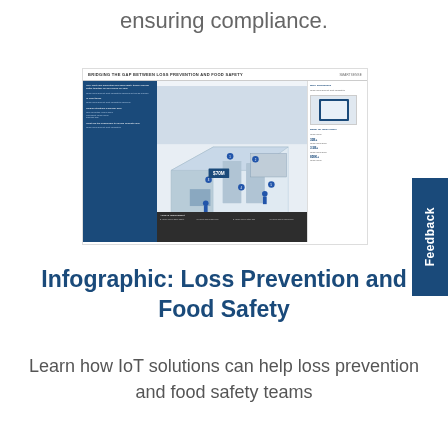ensuring compliance.
[Figure (infographic): Infographic thumbnail: Bridging the Gap Between Loss Prevention and Food Safety. Shows an isometric illustration of a retail store with IoT sensors, blue left panel with text sections, right panel with stats (32B+, 3.5B+, 800K+), and a dark bottom banner with areas of improvement.]
Infographic: Loss Prevention and Food Safety
Learn how IoT solutions can help loss prevention and food safety teams